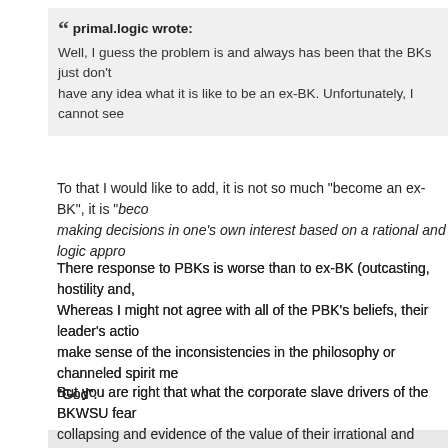primal.logic wrote:
Well, I guess the problem is and always has been that the BKs just don't have any idea what it is like to be an ex-BK. Unfortunately, I cannot see
To that I would like to add, it is not so much "become an ex-BK", it is "beco making decisions in one's own interest based on a rational and logic appro
There response to PBKs is worse than to ex-BK (outcasting, hostility and, Whereas I might not agree with all of the PBK's beliefs, their leader's actio make sense of the inconsistencies in the philosophy or channeled spirit me "God".
But you are right that what the corporate slave drivers of the BKWSU fear collapsing and evidence of the value of their irrational and illogical ... not to
Another strong impression I have is of a massive "vanity". They and only th social groups and structures. That individual and collective vanity cannot b especially qualified outsiders.
This is where I respect the Hare Krishnas much more because they involv Ombudsperson service. I could suggest a few experts that they should hire